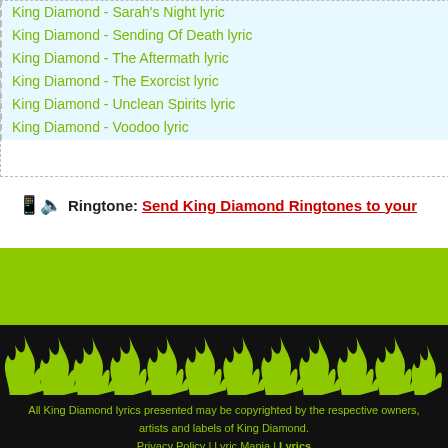King Diamond - Sarah's Night lyric
King Diamond - Sending Of Death lyric
King Diamond - The Aftermath lyric
King Diamond - The Exorcist lyric
King Diamond - Unclean Spirits lyric
King Diamond - Voodoo lyric
📱🔈 Ringtone: Send King Diamond Ringtones to your
[Figure (illustration): Green flame silhouettes decorative banner on dark background]
All King Diamond lyrics presented may be copyrighted by the respective owners, artists and labels of King Diamond.
Privacy Policy | Lyric Mania | Lyrics